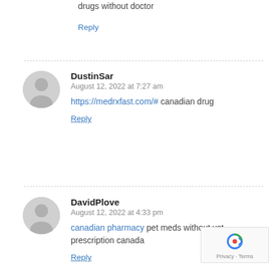drugs without doctor
Reply
DustinSar
August 12, 2022 at 7:27 am
https://medrxfast.com/# canadian drug
Reply
DavidPlove
August 12, 2022 at 4:33 pm
canadian pharmacy pet meds without vet prescription canada
Reply